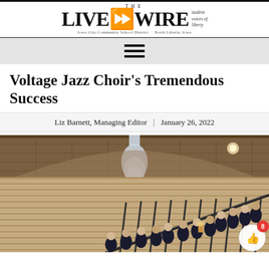THE LIVE WIRE — student voices of liberty — Iowa City Community School District · North Liberty, Iowa
Voltage Jazz Choir's Tremendous Success
Liz Barnett, Managing Editor  |  January 26, 2022
[Figure (photo): Group photo of the Voltage Jazz Choir members posed on a staircase inside a building with a decorative chandelier overhead and warm-toned brick walls.]